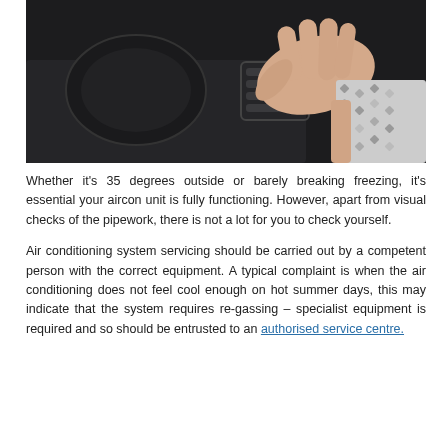[Figure (photo): A person's hand adjusting a car air conditioning vent on a dark dashboard, close-up photo]
Whether it's 35 degrees outside or barely breaking freezing, it's essential your aircon unit is fully functioning. However, apart from visual checks of the pipework, there is not a lot for you to check yourself.
Air conditioning system servicing should be carried out by a competent person with the correct equipment. A typical complaint is when the air conditioning does not feel cool enough on hot summer days, this may indicate that the system requires re-gassing – specialist equipment is required and so should be entrusted to an authorised service centre.